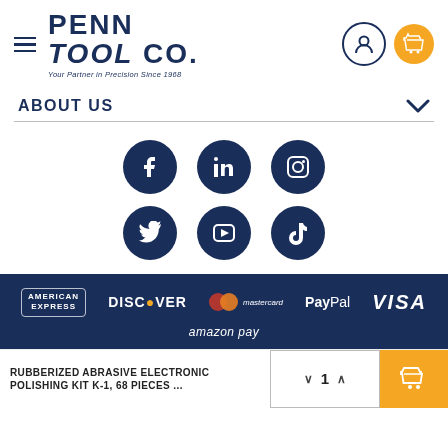[Figure (logo): Penn Tool Co. logo with tagline 'Your Partner in Precision Since 1968']
ABOUT US
[Figure (infographic): Six social media icons in a 3x2 grid: Facebook, LinkedIn, Instagram (top row), Twitter, YouTube, TikTok (bottom row)]
[Figure (infographic): Payment logos: American Express, Discover, Mastercard, PayPal, VISA, Amazon Pay on dark navy background]
RUBBERIZED ABRASIVE ELECTRONIC POLISHING KIT K-1, 68 PIECES...